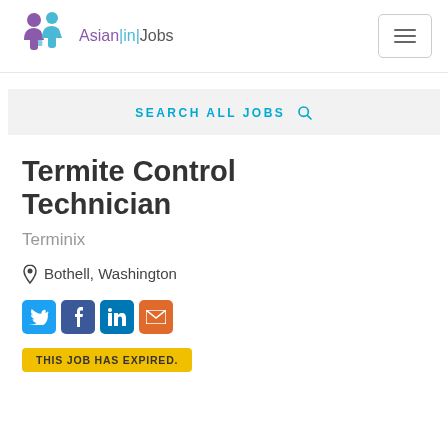Asian|in|Jobs
SEARCH ALL JOBS
Termite Control Technician
Terminix
Bothell, Washington
[Figure (other): Social sharing icons: Twitter, Facebook, LinkedIn, Email]
THIS JOB HAS EXPIRED.